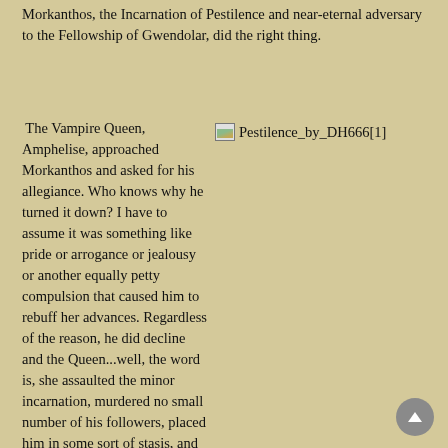Morkanthos, the Incarnation of Pestilence and near-eternal adversary to the Fellowship of Gwendolar, did the right thing.
The Vampire Queen, Amphelise, approached Morkanthos and asked for his allegiance. Who knows why he turned it down? I have to assume it was something like pride or arrogance or jealousy or another equally petty compulsion that caused him to rebuff her advances. Regardless of the reason, he did decline and the Queen...well, the word is, she assaulted the minor incarnation, murdered no small number of his followers, placed him in some sort of stasis, and simply left.
[Figure (illustration): Small broken image icon followed by text 'Pestilence_by_DH666[1]']